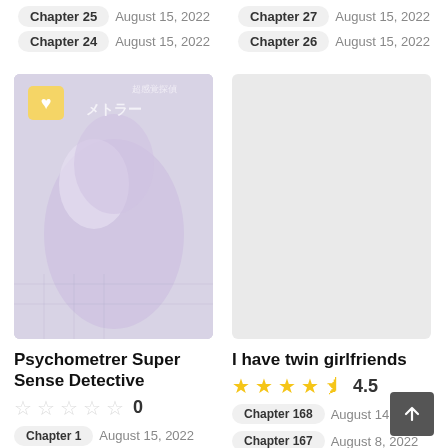Chapter 25  August 15, 2022
Chapter 27  August 15, 2022
Chapter 24  August 15, 2022
Chapter 26  August 15, 2022
[Figure (illustration): Manga cover art for Psychometrer Super Sense Detective — faded/blurred anime-style artwork showing a character with purple hair raising a hand]
Psychometrer Super Sense Detective
★☆☆☆☆ 0
Chapter 1  August 15, 2022
[Figure (illustration): Placeholder grey rectangle for manga cover of 'I have twin girlfriends']
I have twin girlfriends
★★★★½ 4.5
Chapter 168  August 14, 2022
Chapter 167  August 8, 2022